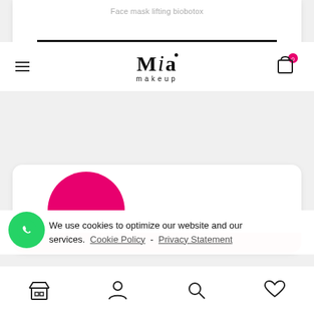Face mask lifting biobotox
ADD TO CART
[Figure (logo): Mia makeup brand logo with hamburger menu and cart icon]
[Figure (illustration): Pink dome shape on white card - partial product image]
We use cookies to optimize our website and our services. Cookie Policy - Privacy Statement
[Figure (logo): WhatsApp circular green icon]
[Figure (infographic): Bottom navigation bar with store, account, search, and wishlist icons]